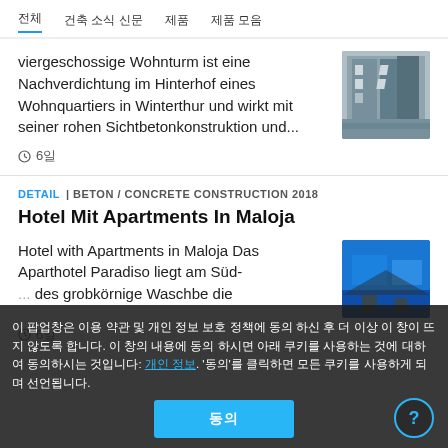전체 | 건축 소식 신문 | 제품 | 제품 모음
viergeschossige Wohnturm ist eine Nachverdichtung im Hinterhof eines Wohnquartiers in Winterthur und wirkt mit seiner rohen Sichtbetonkonstruktion und...
[Figure (photo): Concrete building facade with angular windows]
⏱ 6일
DETAIL | BETON / CONCRETE CONSTRUCTION 2018
Hotel Mit Apartments In Maloja
Hotel with Apartments in Maloja Das Aparthotel Paradiso liegt am Süd- des grobkörnige Waschbe die
[Figure (photo): Blue-toned building with mountain/outdoor scene]
⏱ 6일
이 팝업창은 이용 약관 및 개인 정보 보호 정책에 동의 하신 후 더 이상 이 창이 뜨지 않도록 합니다. 이 창의 내용에 동의 하시면 아래 쿠키를 사용하는 것에 대하여 동의하시는 것입니다: 개인 정보. '동의'를 클릭하면 모든 쿠키를 사용하게 되며 선언됩니다.